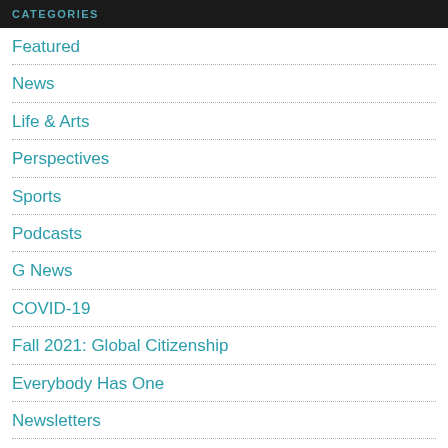CATEGORIES
Featured
News
Life & Arts
Perspectives
Sports
Podcasts
G News
COVID-19
Fall 2021: Global Citizenship
Everybody Has One
Newsletters